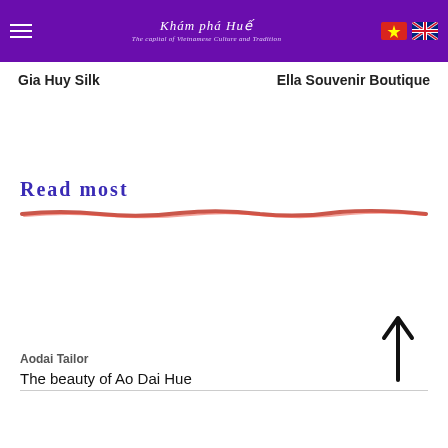Khám phá Huế – The capital of Vietnamese Culture and Tradition
Gia Huy Silk
Ella Souvenir Boutique
Read most
Aodai Tailor
The beauty of Ao Dai Hue